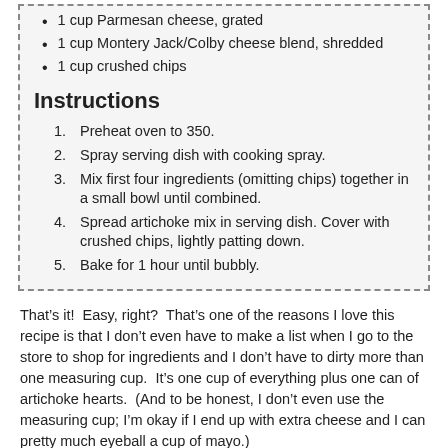1 cup Parmesan cheese, grated
1 cup Montery Jack/Colby cheese blend, shredded
1 cup crushed chips
Instructions
Preheat oven to 350.
Spray serving dish with cooking spray.
Mix first four ingredients (omitting chips) together in a small bowl until combined.
Spread artichoke mix in serving dish. Cover with crushed chips, lightly patting down.
Bake for 1 hour until bubbly.
That’s it!  Easy, right?  That’s one of the reasons I love this recipe is that I don’t even have to make a list when I go to the store to shop for ingredients and I don’t have to dirty more than one measuring cup.  It’s one cup of everything plus one can of artichoke hearts.  (And to be honest, I don’t even use the measuring cup; I’m okay if I end up with extra cheese and I can pretty much eyeball a cup of mayo.)
[Figure (photo): Chip-Crusted Hot Artichoke Dip #TheRealKettleChips - broken image placeholder]